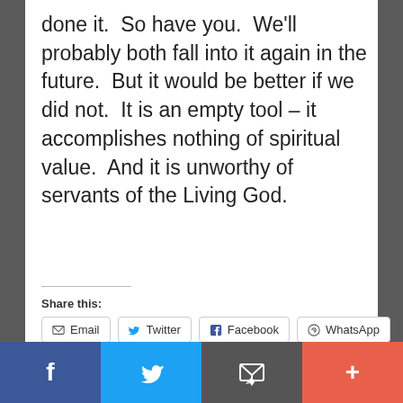done it.  So have you.  We'll probably both fall into it again in the future.  But it would be better if we did not.  It is an empty tool – it accomplishes nothing of spiritual value.  And it is unworthy of servants of the Living God.
Share this:
[Figure (screenshot): Social share buttons for Email, Twitter, Facebook, WhatsApp]
[Figure (screenshot): Bottom social media bar with Facebook, Twitter, Email/subscribe, and More (+) sections in blue, light blue, dark gray, and orange-red]